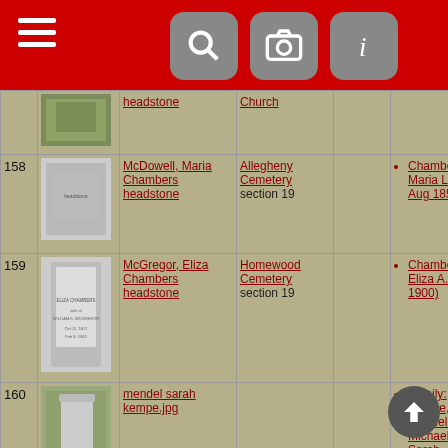Navigation header with hamburger menu, search, camera, and info icons
| # | Image | Title/Link | Location |  | Info |
| --- | --- | --- | --- | --- | --- |
| 158 | [headstone image] | McDowell, Maria Chambers headstone | Allegheny Cemetery section 19 |  | Chambers, Maria L. (c Aug 1859) |
| 159 | [headstone image] | McGregor, Eliza Chambers headstone | Homewood Cemetery section 19 |  | Chambers, Eliza A. (c Feb 1900) |
| 160 | [headstone image] | mendel sarah kempe.jpg |  |  | Family: Kempe, Mendel / Michael, Sarah |
| 161 | [headstone image] | Michael Abraham Headstone | Washington Cemetery |  | Michael, Abraham 1860 |